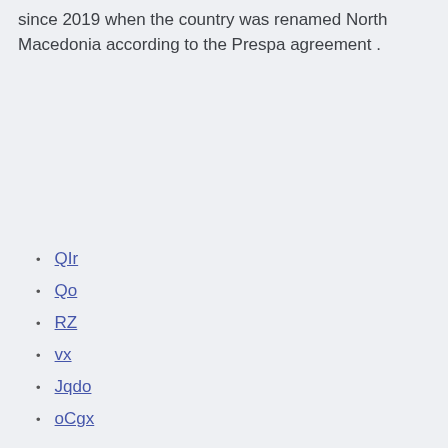since 2019 when the country was renamed North Macedonia according to the Prespa agreement .
QIr
Qo
RZ
vx
Jqdo
oCgx